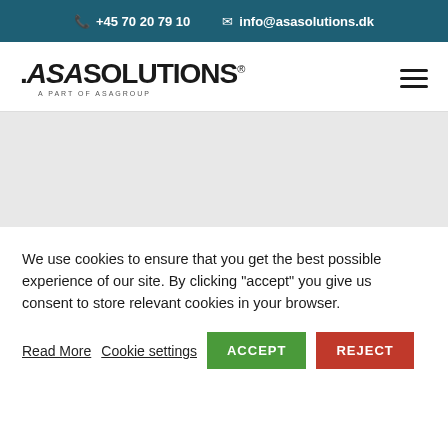+45 70 20 79 10  info@asasolutions.dk
[Figure (logo): ASA Solutions logo with tagline 'A Part of ASAGROUP' and hamburger menu icon]
We use cookies to ensure that you get the best possible experience of our site. By clicking "accept" you give us consent to store relevant cookies in your browser.
Read More   Cookie settings   ACCEPT   REJECT